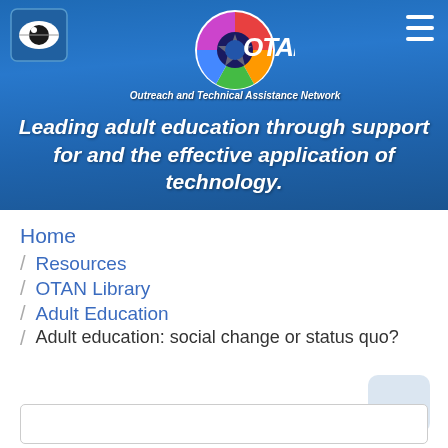[Figure (logo): OTAN (Outreach and Technical Assistance Network) website header with colorful circular logo and eye icon, on blue gradient background]
Leading adult education through support for and the effective application of technology.
Home
/ Resources
/ OTAN Library
/ Adult Education
/ Adult education: social change or status quo?